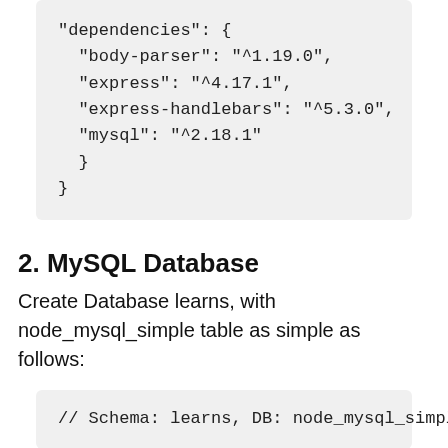"dependencies": {
  "body-parser": "^1.19.0",
  "express": "^4.17.1",
  "express-handlebars": "^5.3.0",
  "mysql": "^2.18.1"
}
}
2. MySQL Database
Create Database learns, with node_mysql_simple table as simple as follows:
// Schema: learns, DB: node_mysql_simple